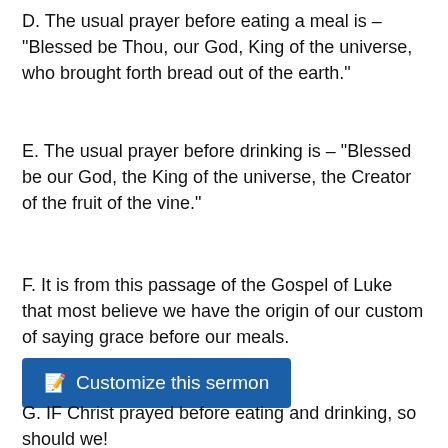D. The usual prayer before eating a meal is – “Blessed be Thou, our God, King of the universe, who brought forth bread out of the earth.”
E. The usual prayer before drinking is – “Blessed be our God, the King of the universe, the Creator of the fruit of the vine.”
F. It is from this passage of the Gospel of Luke that most believe we have the origin of our custom of saying grace before our meals.
[Figure (other): Blue button labeled 'Customize this sermon' with an edit icon on the left]
G. IF Christ prayed before eating and drinking, so should we!